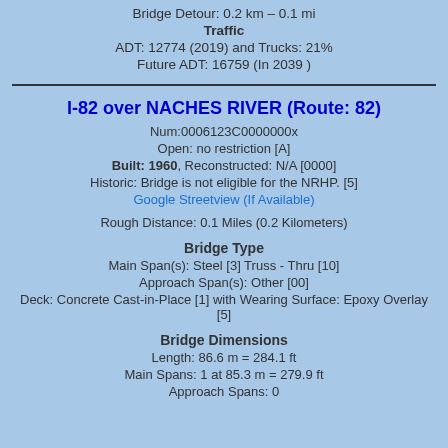Bridge Detour: 0.2 km – 0.1 mi
Traffic
ADT: 12774 (2019) and Trucks: 21%
Future ADT: 16759 (In 2039 )
I-82 over NACHES RIVER (Route: 82)
Num:0006123C0000000x
Open: no restriction [A]
Built: 1960, Reconstructed: N/A [0000]
Historic: Bridge is not eligible for the NRHP. [5]
Google Streetview (If Available)
Rough Distance: 0.1 Miles (0.2 Kilometers)
Bridge Type
Main Span(s): Steel [3] Truss - Thru [10]
Approach Span(s): Other [00]
Deck: Concrete Cast-in-Place [1] with Wearing Surface: Epoxy Overlay [5]
Bridge Dimensions
Length: 86.6 m = 284.1 ft
Main Spans: 1 at 85.3 m = 279.9 ft
Approach Spans: 0